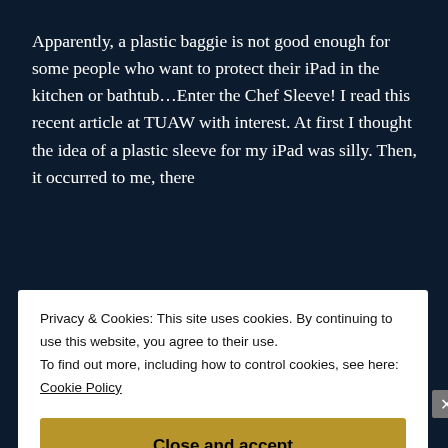Apparently, a plastic baggie is not good enough for some people who want to protect their iPad in the kitchen or bathtub...Enter the Chef Sleeve! I read this recent article at TUAW with interest. At first I thought the idea of a plastic sleeve for my iPad was silly. Then, it occurred to me, there
Continue reading  →
Justin Kahn   April 9, 2011   Accessories
Privacy & Cookies: This site uses cookies. By continuing to use this website, you agree to their use.
To find out more, including how to control cookies, see here: Cookie Policy
Close and accept